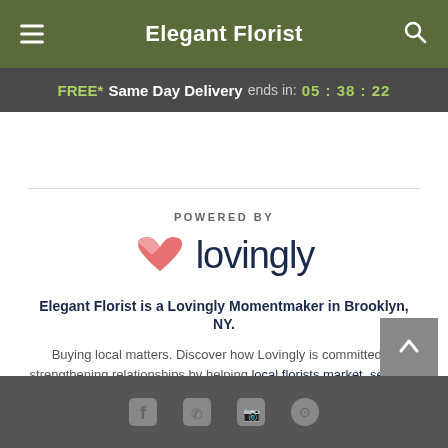Elegant Florist
FREE* Same Day Delivery ends in: 05 : 38 : 22
[Figure (logo): Lovingly logo with pink heart icon and text 'lovingly', preceded by 'POWERED BY' label]
Elegant Florist is a Lovingly Momentmaker in Brooklyn, NY.
Buying local matters. Discover how Lovingly is committed to strengthening relationships by helping local florists market, sell, and deliver their floral designs online.
Footer with social media icons and back to top button